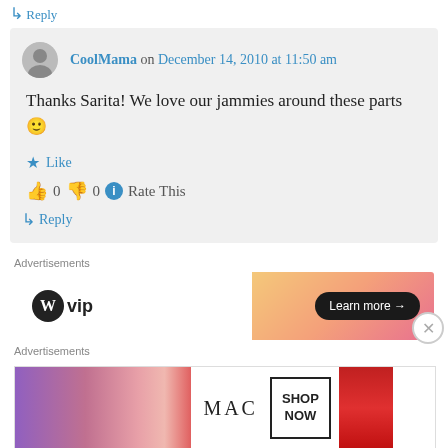↳ Reply
CoolMama on December 14, 2010 at 11:50 am
Thanks Sarita! We love our jammies around these parts 🙂
★ Like
👍 0 👎 0 ℹ Rate This
↳ Reply
Advertisements
[Figure (screenshot): WordPress VIP advertisement banner with gradient orange-pink background and 'Learn more →' button]
Advertisements
[Figure (screenshot): MAC cosmetics advertisement showing lipsticks and 'SHOP NOW' button]